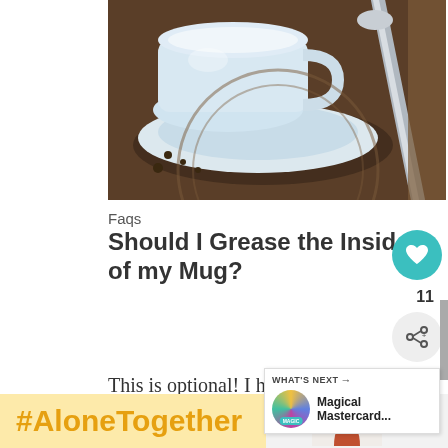[Figure (photo): Close-up photo of a white teacup on a saucer with a metal spoon, sitting on a wooden surface with coffee beans or sugar scattered around]
Faqs
Should I Grease the Inside of my Mug?
This is optional! I have found that the cake does tend to stick to the inside of the mug a bit, however, nothing that
[Figure (infographic): WHAT'S NEXT arrow label with thumbnail image and text: Magical Mastercard...]
[Figure (infographic): #AloneTogether hashtag banner in yellow/gold color with advertising overlay showing a woman and Walmart logo]